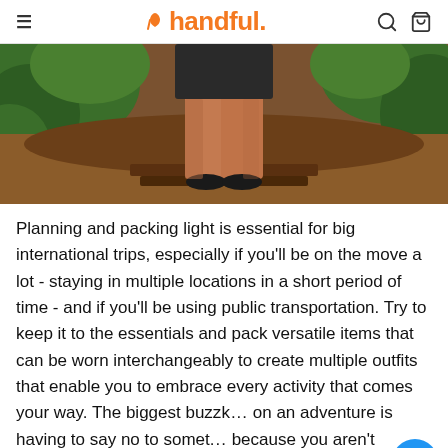handful.
[Figure (photo): Cropped photo showing lower body/legs of a person standing outdoors on stone steps, surrounded by greenery and red-brown earth.]
Planning and packing light is essential for big international trips, especially if you'll be on the move a lot - staying in multiple locations in a short period of time - and if you'll be using public transportation. Try to keep it to the essentials and pack versatile items that can be worn interchangeably to create multiple outfits that enable you to embrace every activity that comes your way. The biggest buzzk... on an adventure is having to say no to somet... because you aren't wearing the right clothing.